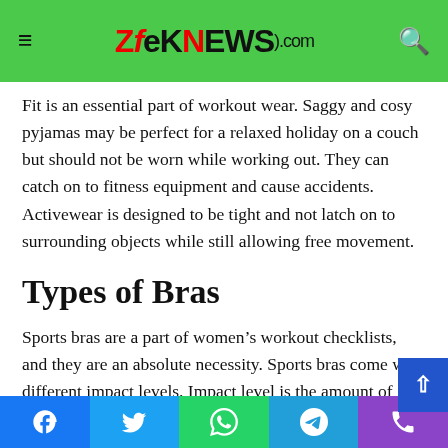ZfeKNEWS.com
Fit is an essential part of workout wear. Saggy and cosy pyjamas may be perfect for a relaxed holiday on a couch but should not be worn while working out. They can catch on to fitness equipment and cause accidents. Activewear is designed to be tight and not latch on to surrounding objects while still allowing free movement.
Types of Bras
Sports bras are a part of women's workout checklists, and they are an absolute necessity. Sports bras come with different impact levels. Impact level is the amount of support the bra is providing. While low impact level bras are suitable for low-intensity activities like yoga or hiki…